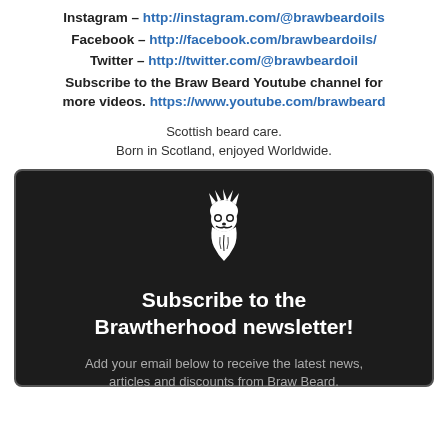Instagram – http://instagram.com/@brawbeardoils
Facebook – http://facebook.com/brawbeardoils/
Twitter – http://twitter.com/@brawbeardoil
Subscribe to the Braw Beard Youtube channel for more videos. https://www.youtube.com/brawbeard
Scottish beard care.
Born in Scotland, enjoyed Worldwide.
[Figure (logo): Braw Beard logo: white illustration of a bearded face with a crown, on dark background]
Subscribe to the Brawtherhood newsletter!
Add your email below to receive the latest news, articles and discounts from Braw Beard.